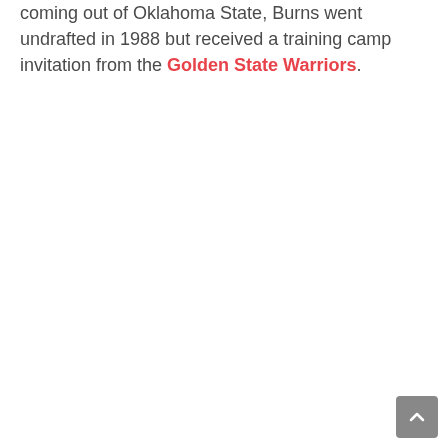coming out of Oklahoma State, Burns went undrafted in 1988 but received a training camp invitation from the Golden State Warriors.